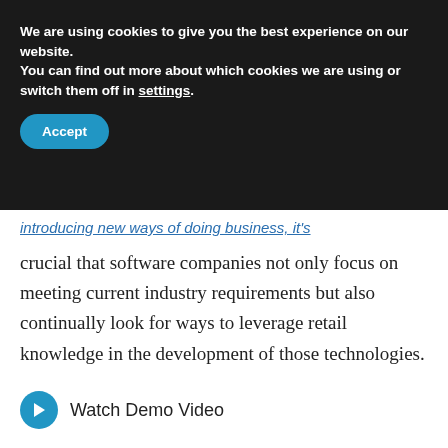We are using cookies to give you the best experience on our website.
You can find out more about which cookies we are using or switch them off in settings.
Accept
…introducing new ways of doing business, it's crucial that software companies not only focus on meeting current industry requirements but also continually look for ways to leverage retail knowledge in the development of those technologies.
Watch Demo Video